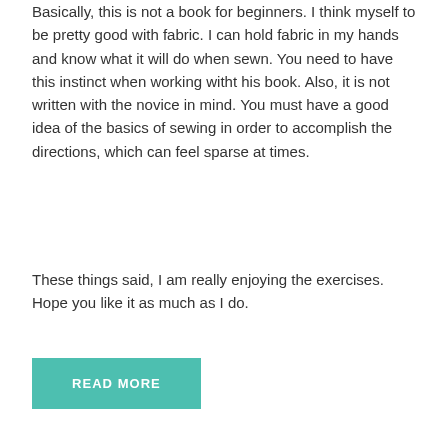Basically, this is not a book for beginners. I think myself to be pretty good with fabric. I can hold fabric in my hands and know what it will do when sewn. You need to have this instinct when working witht his book. Also, it is not written with the novice in mind. You must have a good idea of the basics of sewing in order to accomplish the directions, which can feel sparse at times.
These things said, I am really enjoying the exercises. Hope you like it as much as I do.
READ MORE
Unusual Animals
JUN 08, 2009